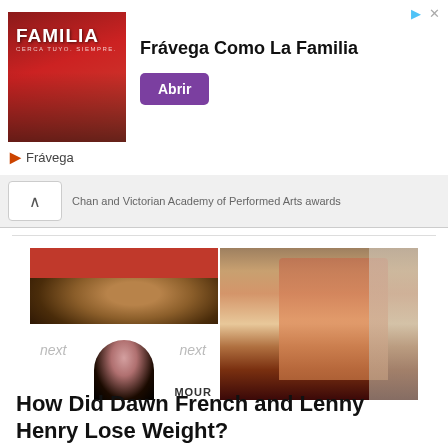[Figure (photo): Advertisement banner for Frávega Como La Familia with sports team image and purple Abrir button]
Frávega Como La Familia
Abrir
Frávega
Chan and Victorian Academy of Performed Arts awards
[Figure (photo): Photo collage of Lenny Henry (top left, red background), Dawn French (bottom left, next backdrop), and the couple together at an event (right side)]
How Did Dawn French and Lenny Henry Lose Weight?